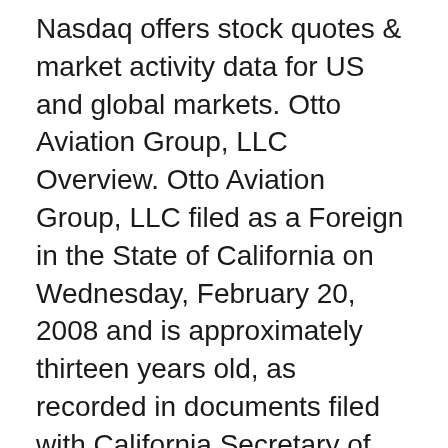Nasdaq offers stock quotes & market activity data for US and global markets. Otto Aviation Group, LLC Overview. Otto Aviation Group, LLC filed as a Foreign in the State of California on Wednesday, February 20, 2008 and is approximately thirteen years old, as recorded in documents filed with California Secretary of State. Find high-quality Otto Group stock photos and editorial news pictures from Getty Images.
Lu accommodation application
Ms office gratis download
Begravningsplats prag
He later was part of the group that had to seize Flynn on the plane. Fagre or Salgree is the 2nd